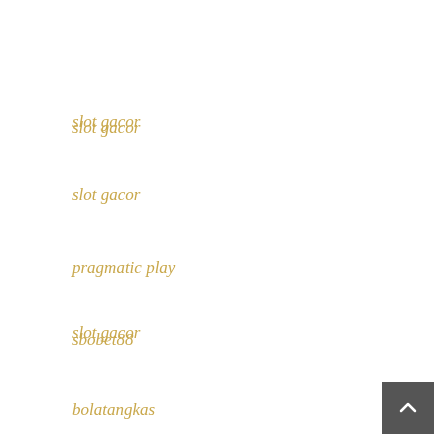slot gacor
slot gacor
pragmatic play
sbobet88
bolatangkas